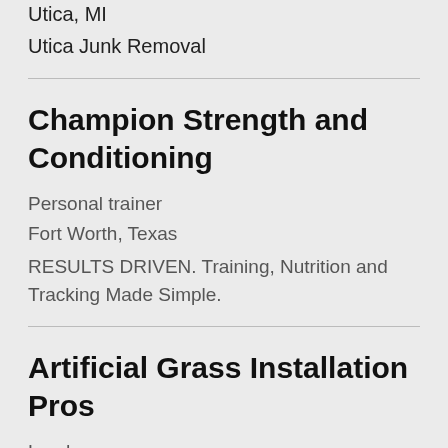Utica, MI
Utica Junk Removal
Champion Strength and Conditioning
Personal trainer
Fort Worth, Texas
RESULTS DRIVEN. Training, Nutrition and Tracking Made Simple.
Artificial Grass Installation Pros
Landscaper